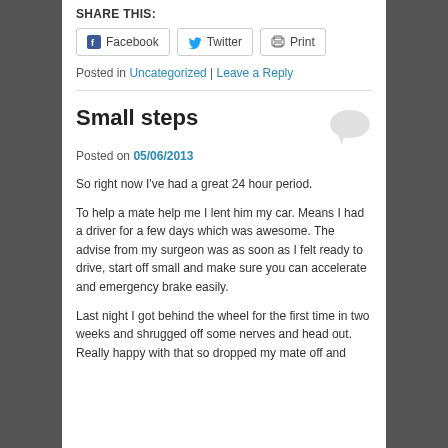SHARE THIS:
[Figure (other): Share buttons for Facebook, Twitter, and Print]
Posted in Uncategorized | Leave a Reply
Small steps
Posted on 05/06/2013
So right now I've had a great 24 hour period.
To help a mate help me I lent him my car. Means I had a driver for a few days which was awesome. The advise from my surgeon was as soon as I felt ready to drive, start off small and make sure you can accelerate and emergency brake easily.
Last night I got behind the wheel for the first time in two weeks and shrugged off some nerves and head out. Really happy with that so dropped my mate off and